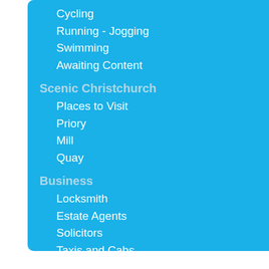Cycling
Running - Jogging
Swimming
Awaiting Content
Scenic Christchurch
Places to Visit
Priory
Mill
Quay
Business
Locksmith
Estate Agents
Solicitors
Taxis and Cabs
Travel Agents
Takeaway Shops
Restaurants
Hotel & Guest Houses
Dentists
Garages
Hairdressers